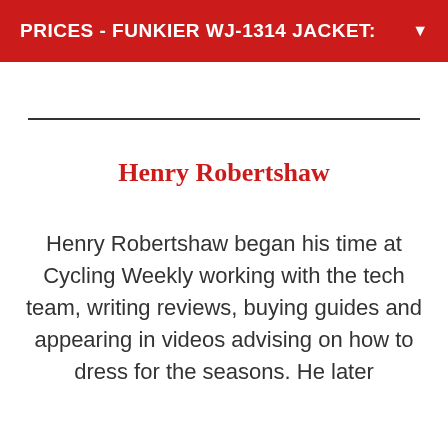PRICES - FUNKIER WJ-1314 JACKET:
Henry Robertshaw
Henry Robertshaw began his time at Cycling Weekly working with the tech team, writing reviews, buying guides and appearing in videos advising on how to dress for the seasons. He later